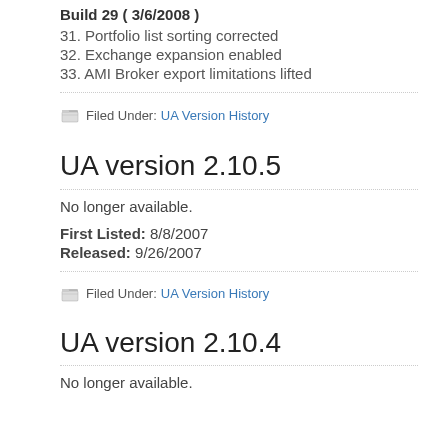Build 29 ( 3/6/2008 )
31. Portfolio list sorting corrected
32. Exchange expansion enabled
33. AMI Broker export limitations lifted
Filed Under: UA Version History
UA version 2.10.5
No longer available.
First Listed: 8/8/2007
Released: 9/26/2007
Filed Under: UA Version History
UA version 2.10.4
No longer available.